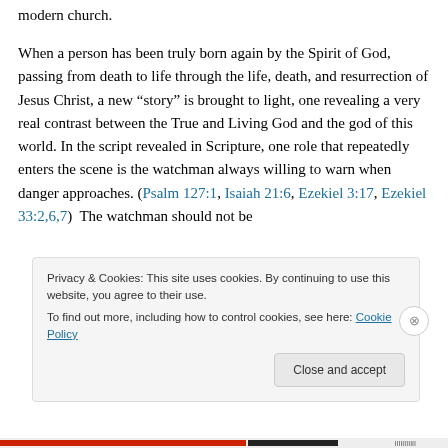modern church.
When a person has been truly born again by the Spirit of God, passing from death to life through the life, death, and resurrection of Jesus Christ, a new “story” is brought to light, one revealing a very real contrast between the True and Living God and the god of this world. In the script revealed in Scripture, one role that repeatedly enters the scene is the watchman always willing to warn when danger approaches. (Psalm 127:1, Isaiah 21:6, Ezekiel 3:17, Ezekiel 33:2,6,7)  The watchman should not be
Privacy & Cookies: This site uses cookies. By continuing to use this website, you agree to their use.
To find out more, including how to control cookies, see here: Cookie Policy